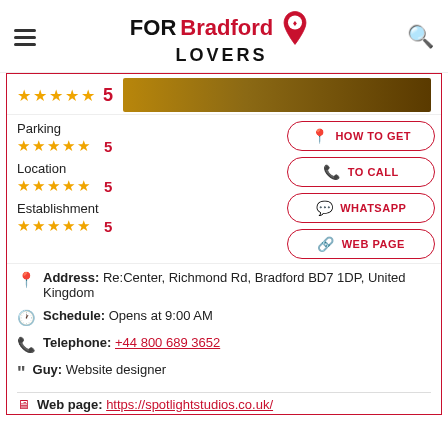FOR Bradford LOVERS
Parking ★★★★★ 5
Location ★★★★★ 5
Establishment ★★★★★ 5
HOW TO GET
TO CALL
WHATSAPP
WEB PAGE
Address: Re:Center, Richmond Rd, Bradford BD7 1DP, United Kingdom
Schedule: Opens at 9:00 AM
Telephone: +44 800 689 3652
Guy: Website designer
Web page: https://spotlightstudios.co.uk/